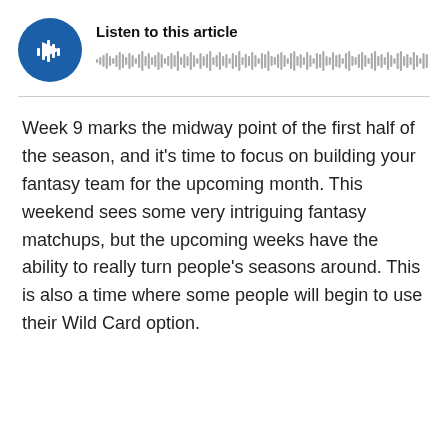[Figure (other): Audio player widget with circular blue play button icon with sound wave symbol and waveform visualization bar, labeled 'Listen to this article']
Week 9 marks the midway point of the first half of the season, and it's time to focus on building your fantasy team for the upcoming month. This weekend sees some very intriguing fantasy matchups, but the upcoming weeks have the ability to really turn people's seasons around. This is also a time where some people will begin to use their Wild Card option.